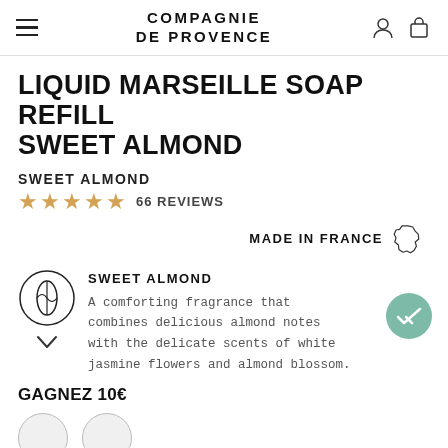COMPAGNIE DE PROVENCE
LIQUID MARSEILLE SOAP REFILL SWEET ALMOND
SWEET ALMOND
66 REVIEWS
MADE IN FRANCE
SWEET ALMOND
A comforting fragrance that combines delicious almond notes with the delicate scents of white jasmine flowers and almond blossom.
GAGNEZ 10€